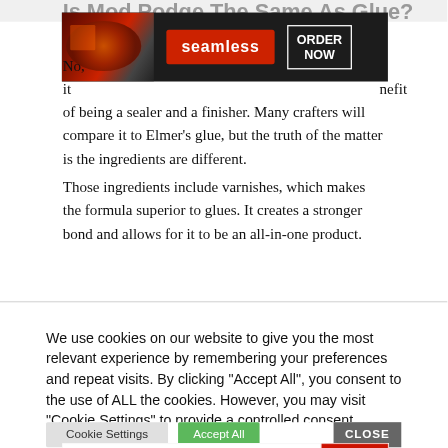Is Mod Podge The Same As Glue?
[Figure (screenshot): Seamless food delivery advertisement banner with pizza image, 'seamless' red button, and 'ORDER NOW' button on dark background]
No, it... nefit of being a sealer and a finisher. Many crafters will compare it to Elmer's glue, but the truth of the matter is the ingredients are different.
Those ingredients include varnishes, which makes the formula superior to glues. It creates a stronger bond and allows for it to be an all-in-one product.
We use cookies on our website to give you the most relevant experience by remembering your preferences and repeat visits. By clicking "Accept All", you consent to the use of ALL the cookies. However, you may visit "Cookie Settings" to provide a controlled consent.
[Figure (screenshot): MAC cosmetics advertisement with lipsticks in purple, pink, and red colors, MAC logo, SHOP NOW button, and red sidebar]
Cook...